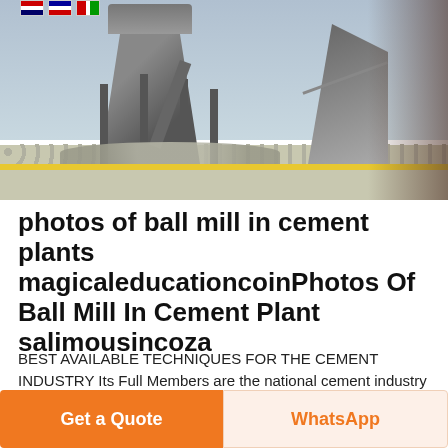[Figure (photo): Industrial cement plant interior showing a large conical silo/hopper, metal support legs, staircase structure, and a floor covered with grinding balls. Flags visible in the upper-left background.]
photos of ball mill in cement plants magicaleducationcoinPhotos Of Ball Mill In Cement Plant salimousincoza
BEST AVAILABLE TECHNIQUES FOR THE CEMENT INDUSTRY Its Full Members are the national cement industry associations and cement regularly co hosts conferences on specific issues aimed at improving the image of concrete and promoting the use Cement grinding in ball mills roller pressesBall mill ball mill grinding plant ceramic ball mill Besides the modernization and
Get a Quote
WhatsApp